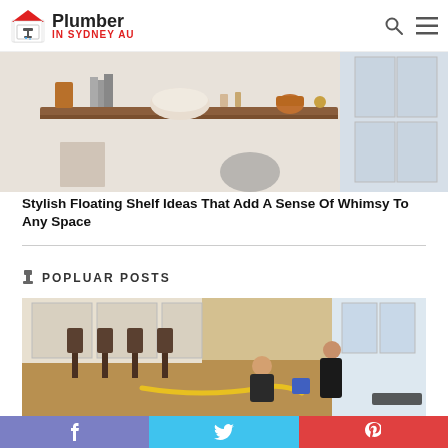Plumber IN SYDNEY AU
[Figure (photo): Floating wooden shelves with decorative items including bowls, books, and ornaments against a white wall]
Stylish Floating Shelf Ideas That Add A Sense Of Whimsy To Any Space
POPLUAR POSTS
[Figure (photo): Two plumbers/workers working on the floor of a kitchen with yellow hose equipment, dining chairs visible]
f  t  P